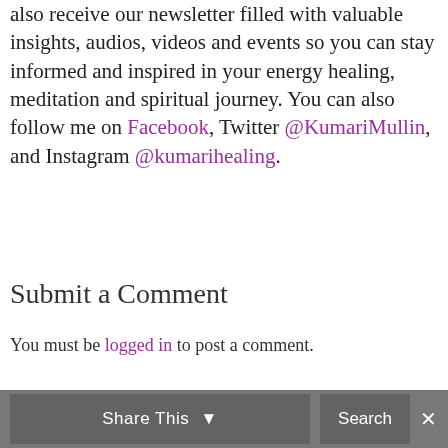also receive our newsletter filled with valuable insights, audios, videos and events so you can stay informed and inspired in your energy healing, meditation and spiritual journey. You can also follow me on Facebook, Twitter @KumariMullin, and Instagram @kumarihealing.
Submit a Comment
You must be logged in to post a comment.
Share This  Search  ✕